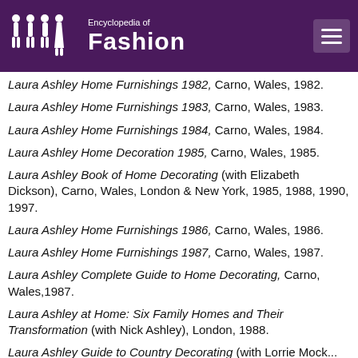Encyclopedia of Fashion
Laura Ashley Home Furnishings 1982, Carno, Wales, 1982.
Laura Ashley Home Furnishings 1983, Carno, Wales, 1983.
Laura Ashley Home Furnishings 1984, Carno, Wales, 1984.
Laura Ashley Home Decoration 1985, Carno, Wales, 1985.
Laura Ashley Book of Home Decorating (with Elizabeth Dickson), Carno, Wales, London & New York, 1985, 1988, 1990, 1997.
Laura Ashley Home Furnishings 1986, Carno, Wales, 1986.
Laura Ashley Home Furnishings 1987, Carno, Wales, 1987.
Laura Ashley Complete Guide to Home Decorating, Carno, Wales,1987.
Laura Ashley at Home: Six Family Homes and Their Transformation (with Nick Ashley), London, 1988.
Laura Ashley Guide to Country Decorating (with Lorrie Mock...